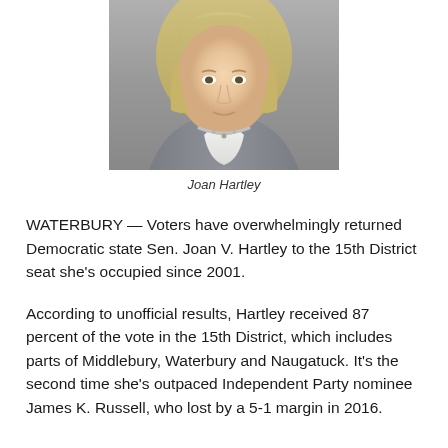[Figure (photo): Portrait photo of Joan Hartley, a woman with blonde hair wearing a silver necklace and a gray blazer over a white top, photographed from the shoulders up.]
Joan Hartley
WATERBURY — Voters have overwhelmingly returned Democratic state Sen. Joan V. Hartley to the 15th District seat she's occupied since 2001.
According to unofficial results, Hartley received 87 percent of the vote in the 15th District, which includes parts of Middlebury, Waterbury and Naugatuck. It's the second time she's outpaced Independent Party nominee James K. Russell, who lost by a 5-1 margin in 2016.